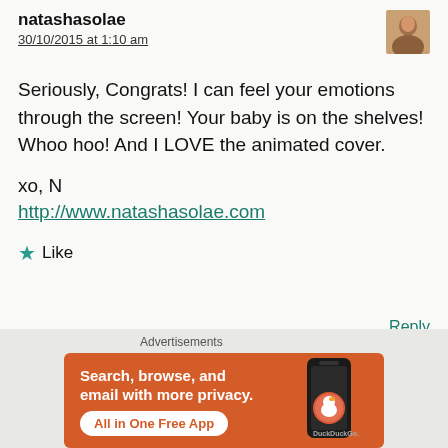natashasolae
30/10/2015 at 1:10 am
Seriously, Congrats! I can feel your emotions through the screen! Your baby is on the shelves! Whoo hoo! And I LOVE the animated cover.

xo, N
http://www.natashasolae.com
★ Like
Reply
[Figure (other): DuckDuckGo advertisement banner: orange background with text 'Search, browse, and email with more privacy. All in One Free App' and DuckDuckGo logo on a phone mockup]